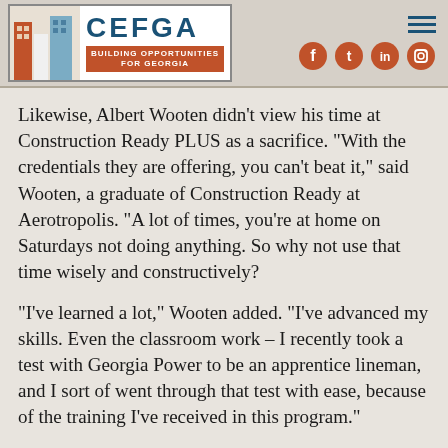[Figure (logo): CEFGA logo with building graphic and tagline 'Building Opportunities for Georgia']
Likewise, Albert Wooten didn't view his time at Construction Ready PLUS as a sacrifice. “With the credentials they are offering, you can’t beat it,” said Wooten, a graduate of Construction Ready at Aerotropolis. “A lot of times, you’re at home on Saturdays not doing anything. So why not use that time wisely and constructively?
“I’ve learned a lot,” Wooten added. “I’ve advanced my skills. Even the classroom work – I recently took a test with Georgia Power to be an apprentice lineman, and I sort of went through that test with ease, because of the training I’ve received in this program.”